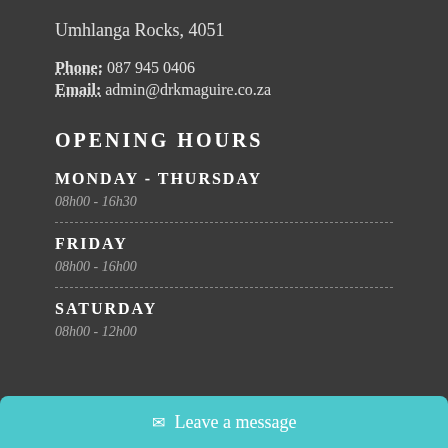Umhlanga Rocks, 4051
Phone: 087 945 0406
Email: admin@drkmaguire.co.za
OPENING HOURS
MONDAY - THURSDAY
08h00 - 16h30
FRIDAY
08h00 - 16h00
SATURDAY
08h00 - 12h00
✉ Leave a message